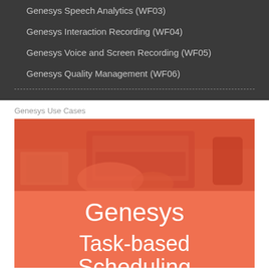Genesys Speech Analytics (WF03)
Genesys Interaction Recording (WF04)
Genesys Voice and Screen Recording (WF05)
Genesys Quality Management (WF06)
Genesys Use Cases
[Figure (illustration): Orange-tinted photo of hands working at a laptop on a desk, with a phone and papers visible]
Genesys Task-based Scheduling